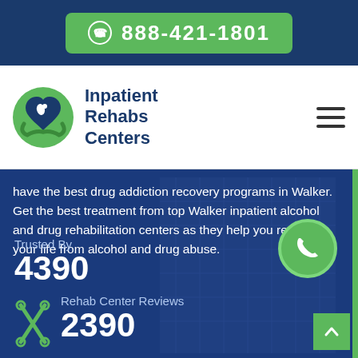888-421-1801
[Figure (logo): Inpatient Rehabs Centers logo with green hands holding a blue heart]
Inpatient Rehabs Centers
have the best drug addiction recovery programs in Walker. Get the best treatment from top Walker inpatient alcohol and drug rehabilitation centers as they help you reclaim your life from alcohol and drug abuse.
Trusted By
4390
Rehab Center Reviews
2390